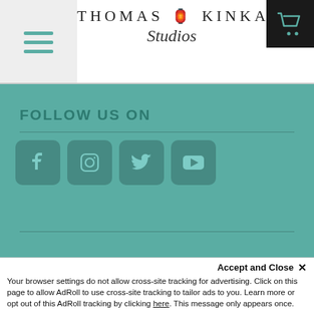[Figure (logo): Thomas Kinkade Studios logo with lantern icon and script 'Studios' text, menu hamburger icon on left, shopping cart icon on right]
FOLLOW US ON
[Figure (infographic): Four social media icons: Facebook, Instagram, Twitter, YouTube — rounded square teal buttons]
NEWSLETTER SIGN UP
Accept and Close ×
Your browser settings do not allow cross-site tracking for advertising. Click on this page to allow AdRoll to use cross-site tracking to tailor ads to you. Learn more or opt out of this AdRoll tracking by clicking here. This message only appears once.